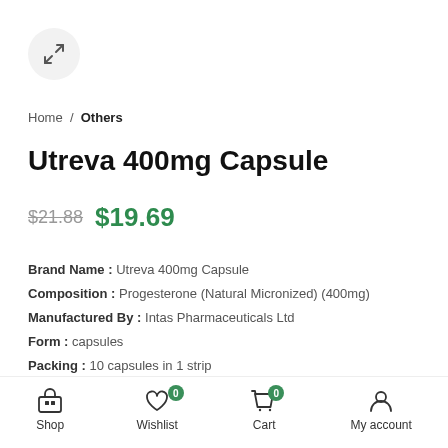[Figure (other): Expand/zoom icon button in a circular gray background]
Home / Others
Utreva 400mg Capsule
$21.88  $19.69
Brand Name : Utreva 400mg Capsule
Composition : Progesterone (Natural Micronized) (400mg)
Manufactured By : Intas Pharmaceuticals Ltd
Form : capsules
Packing : 10 capsules in 1 strip
Shop  Wishlist (0)  Cart (0)  My account